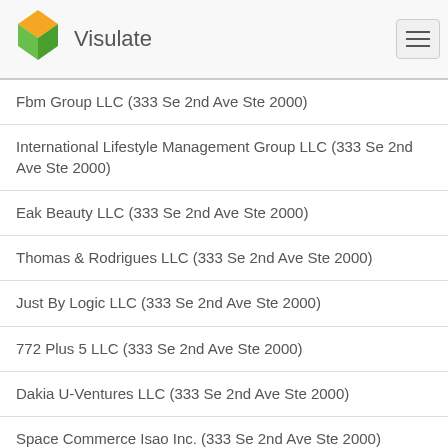Visulate
Fbm Group LLC (333 Se 2nd Ave Ste 2000)
International Lifestyle Management Group LLC (333 Se 2nd Ave Ste 2000)
Eak Beauty LLC (333 Se 2nd Ave Ste 2000)
Thomas & Rodrigues LLC (333 Se 2nd Ave Ste 2000)
Just By Logic LLC (333 Se 2nd Ave Ste 2000)
772 Plus 5 LLC (333 Se 2nd Ave Ste 2000)
Dakia U-Ventures LLC (333 Se 2nd Ave Ste 2000)
Space Commerce Isao Inc. (333 Se 2nd Ave Ste 2000)
Obsidianica, Inc. (333 Se 2nd Ave Ste 2000)